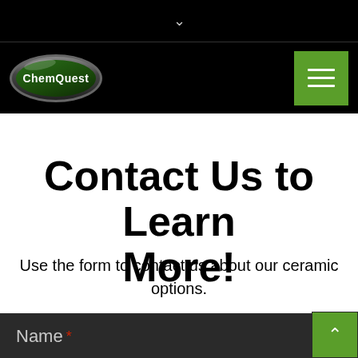[Figure (logo): ChemQuest oval logo with green background and white text on black navigation bar]
Contact Us to Learn More!
Use the form to contact us about our ceramic options.
Name *